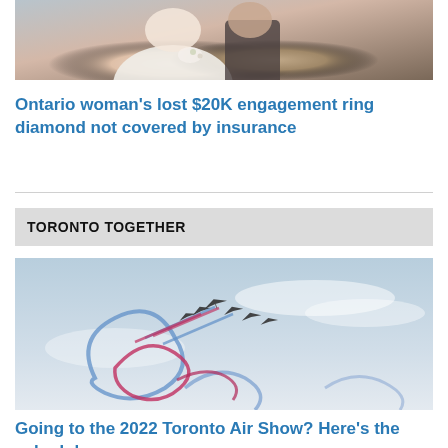[Figure (photo): Wedding photo showing a bride in white dress and groom in dark suit, cropped to show upper body]
Ontario woman's lost $20K engagement ring diamond not covered by insurance
TORONTO TOGETHER
[Figure (photo): Airshow photo showing jet aircraft trailing red, white, and blue smoke in looping formations against a light blue sky]
Going to the 2022 Toronto Air Show? Here's the schedule